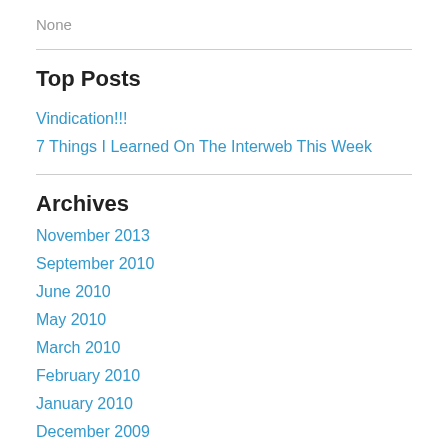None
Top Posts
Vindication!!!
7 Things I Learned On The Interweb This Week
Archives
November 2013
September 2010
June 2010
May 2010
March 2010
February 2010
January 2010
December 2009
November 2009